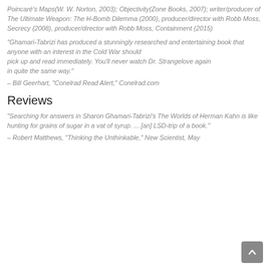Poincaré's Maps(W. W. Norton, 2003); Objectivity(Zone Books, 2007); writer/producer of The Ultimate Weapon: The H-Bomb Dilemma (2000), producer/director with Robb Moss, Secrecy (2008), producer/director with Robb Moss, Containment (2015)
"Ghamari-Tabrizi has produced a stunningly researched and entertaining book that anyone with an interest in the Cold War should pick up and read immediately. You'll never watch Dr. Strangelove again in quite the same way."
– Bill Geerhart, "Conelrad Read Alert," Conelrad.com
Reviews
"Searching for answers in Sharon Ghamari-Tabrizi's The Worlds of Herman Kahn is like hunting for grains of sugar in a vat of syrup. ... [an] LSD-trip of a book."
– Robert Matthews, "Thinking the Unthinkable," New Scientist, May